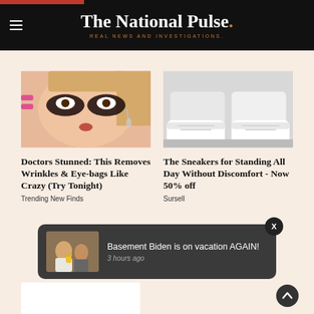The National Pulse. REAL NEWS AND INVESTIGATIONS.
[Figure (photo): Woman with dramatic eye makeup and dark glitter eye shadow looking at camera with wide eyes, pink nails visible]
Doctors Stunned: This Removes Wrinkles & Eye-bags Like Crazy (Try Tonight)
Trending New Finds
[Figure (photo): White sneakers and person's legs in white pants sitting on floor]
The Sneakers for Standing All Day Without Discomfort - Now 50% off
Sursell
[Figure (photo): Notification popup with image of Biden]
Basement Biden is on vacation AGAIN!
3 hours ago